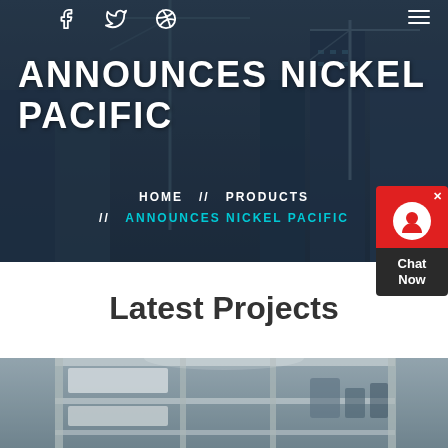[Figure (photo): Dark hero banner with construction site background showing cranes and tall buildings under construction]
ANNOUNCES NICKEL PACIFIC
HOME // PRODUCTS // ANNOUNCES NICKEL PACIFIC
[Figure (other): Chat Now widget with red head icon button and dark chat label]
Latest Projects
[Figure (photo): Industrial construction project image showing steel structure and equipment]